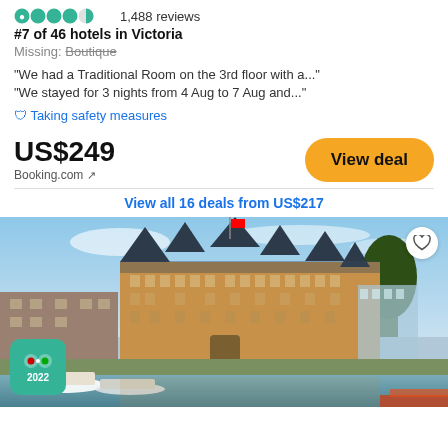1,488 reviews
#7 of 46 hotels in Victoria
Missing: Boutique
"We had a Traditional Room on the 3rd floor with a..."
"We stayed for 3 nights from 4 Aug to 7 Aug and..."
🛡 Taking safety measures
US$249
Booking.com ↗
View deal
View all 16 deals from US$217
[Figure (photo): Exterior photo of a grand historic hotel building (the Fairmont Empress) along Victoria's inner harbour waterfront, with boats, the Canadian flag visible, and a TripAdvisor 2022 badge in the lower left corner.]